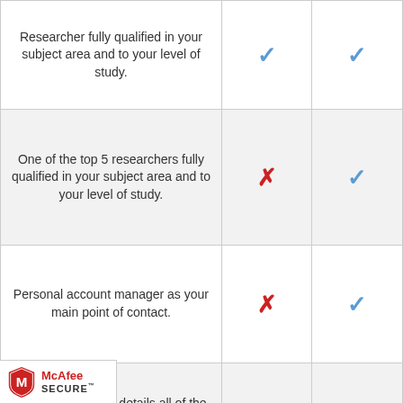| Feature | Option 1 | Option 2 |
| --- | --- | --- |
| Researcher fully qualified in your subject area and to your level of study. | ✓ | ✓ |
| One of the top 5 researchers fully qualified in your subject area and to your level of study. | ✗ | ✓ |
| Personal account manager as your main point of contact. | ✗ | ✓ |
| Quality report that details all of the quality checks carried out on your work. | ✗ | ✓ |
[Figure (logo): McAfee SECURE badge with red shield logo]